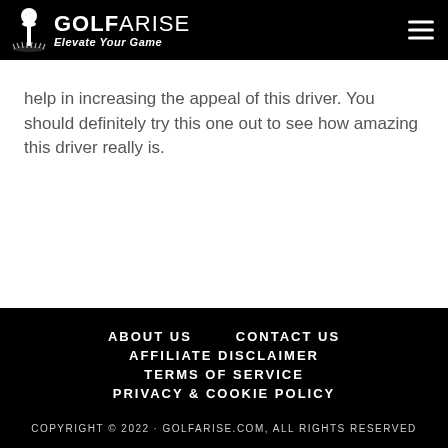GOLFARISE — Elevate Your Game
help in increasing the appeal of this driver. You should definitely try this one out to see how amazing this driver really is.
ABOUT US   CONTACT US   AFFILIATE DISCLAIMER   TERMS OF SERVICE   PRIVACY & COOKIE POLICY   COPYRIGHT © 2022 · GOLFARISE.COM, ALL RIGHTS RESERVED